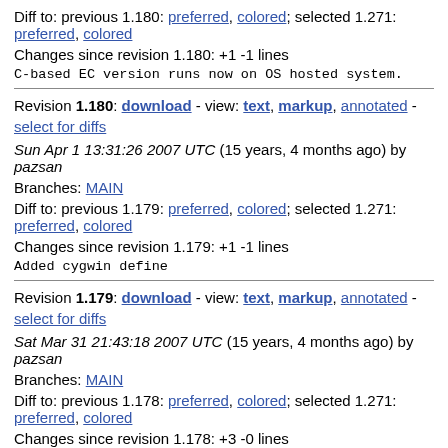Diff to: previous 1.180: preferred, colored; selected 1.271: preferred, colored
Changes since revision 1.180: +1 -1 lines
C-based EC version runs now on OS hosted system.
Revision 1.180: download - view: text, markup, annotated - select for diffs
Sun Apr 1 13:31:26 2007 UTC (15 years, 4 months ago) by pazsan
Branches: MAIN
Diff to: previous 1.179: preferred, colored; selected 1.271: preferred, colored
Changes since revision 1.179: +1 -1 lines
Added cygwin define
Revision 1.179: download - view: text, markup, annotated - select for diffs
Sat Mar 31 21:43:18 2007 UTC (15 years, 4 months ago) by pazsan
Branches: MAIN
Diff to: previous 1.178: preferred, colored; selected 1.271: preferred, colored
Changes since revision 1.178: +3 -0 lines
Further work on NXT Gforth